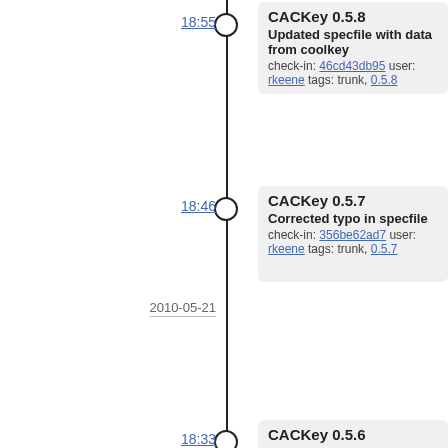18:55 — CACKey 0.5.8 — Updated specfile with data from coolkey — check-in: 46cd43db95 user: rkeene tags: trunk, 0.5.8
18:46 — CACKey 0.5.7 — Corrected typo in specfile — check-in: 356be62ad7 user: rkeene tags: trunk, 0.5.7
18:33 — CACKey 0.5.6 — Added RPM Spec file — check-in: b5db4e9add user: rkeene tags: trunk, 0.5.6
2010-05-21
22:09 — Updated comments regarding bug in GDM — check-in: dd81bbaf7e user: rkeene tags: trunk
21:09 — Added support for more PC/SC errors — check-in: a5be7fbdf0 user: rkeene tags: trunk
17:25 — Fixed issue with C_Sign updating buffer twice